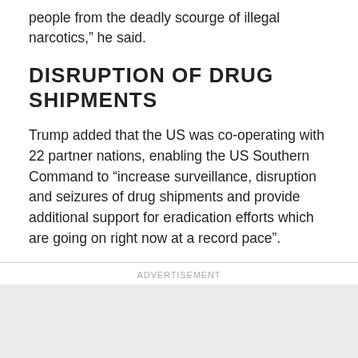people from the deadly scourge of illegal narcotics,” he said.
DISRUPTION OF DRUG SHIPMENTS
Trump added that the US was co-operating with 22 partner nations, enabling the US Southern Command to “increase surveillance, disruption and seizures of drug shipments and provide additional support for eradication efforts which are going on right now at a record pace”.
ADVERTISEMENT